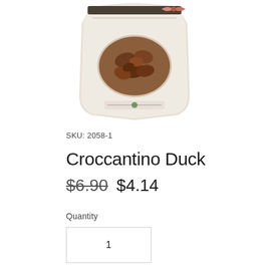[Figure (photo): Product package of Croccantino Duck dog treats, a stand-up pouch with an oval window showing chunky brown treats inside, on a white background]
SKU: 2058-1
Croccantino Duck
$6.90 $4.14
Quantity
1